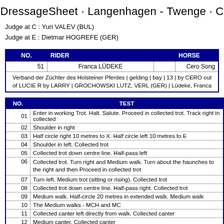DressageSheet · Langenhagen - Twenge · C
Judge at C : Yuri VALEV (BUL)
Judge at E : Dietmar HOGREFE (GER)
| NO. | RIDER |  | HORSE |
| --- | --- | --- | --- |
| 51 | Franca LÜDEKE |  | Cero Song |
| Verband der Züchter des Holsteiner Pferdes | gelding | bay | 13 | by CERO out of LUCIE R by LARRY | GROCHOWSKI LUTZ, VERL (GER) | Lüdeke, Franca |  |  |  |
| NO. | TEST |
| --- | --- |
| 01 | Enter in working Trot. Halt. Salute. Proceed in collected trot. Track right in collected |
| 02 | Shoulder in right |
| 03 | Half circle right 10 metres to X. Half circle left 10 metres to E |
| 04 | Shoulder in left. Collected trot |
| 05 | Collected trot down centre line. Half-pass left |
| 06 | Collected trot. Turn right and Medium walk. Turn about the haunches to the right and then Proceed in collected trot |
| 07 | Turn left. Medium trot (sitting or rising). Collected trot |
| 08 | Collected trot down centre line. Half-pass right. Collected trot |
| 09 | Medium walk. Half-circle 20 metres in extended walk. Medium walk |
| 10 | The Medium walks - MCH and MC |
| 11 | Collected canter left directly from walk. Collected canter |
| 12 | Medium canter. Collected canter |
| 13 | Serpentine of 3 loops without change of leg, each loop to go to the side of the are |